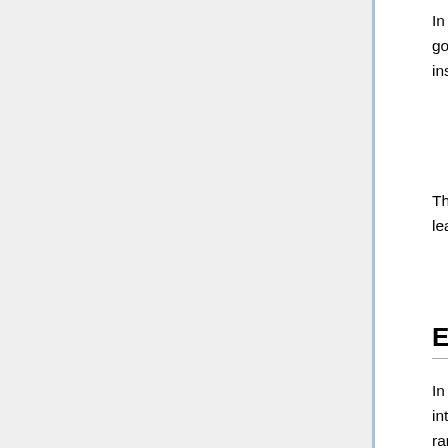In addition to the term walks, they also added several common features: number of goals, total symbol size of all goals, length of active paths, number of current variable instantiations, most common symbols.
The whole project is implemented in OCaml, and XGBoost is ported into OCaml as the learner.
Experimental Results
In the paper, the dataset they were using is Mizar40. They divided the mizar40 dataset into training and testing set, with a ratio of 9 to 1. According to the author, the split is a random split. During the experiment, the authors' method was able to prove 32524 statements out of 146700 statements. The authors' main